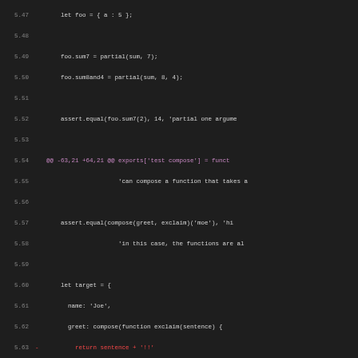[Figure (screenshot): Code diff view showing JavaScript source code lines 5.47-5.78 with syntax highlighting on dark background. Shows diff markers for removed/added lines.]